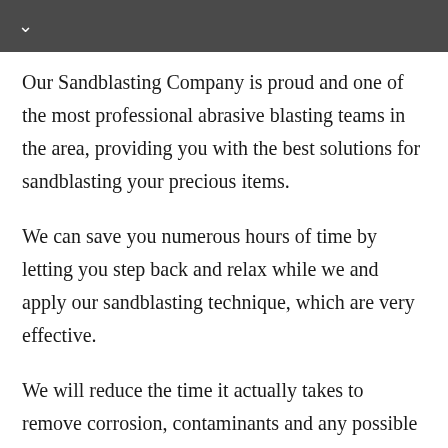∨
Our Sandblasting Company is proud and one of the most professional abrasive blasting teams in the area, providing you with the best solutions for sandblasting your precious items.
We can save you numerous hours of time by letting you step back and relax while we and apply our sandblasting technique, which are very effective.
We will reduce the time it actually takes to remove corrosion, contaminants and any possible surface distractions that you can possible think of. The team here will successfully complete a sandblasting project on any object that you need assistance with restoring.